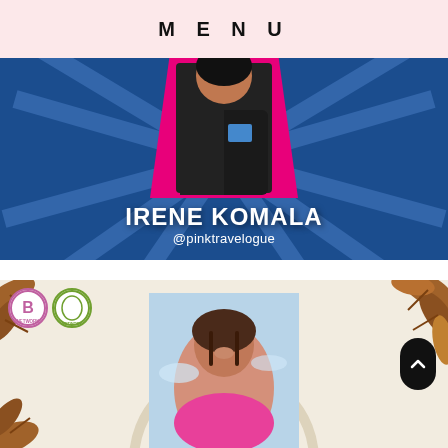MENU
[Figure (photo): Blue promotional card with magenta accent featuring a person in a dark jacket. Bold white text reads 'IRENE KOMALA' with handle '@pinktravelogue' below.]
[Figure (photo): Beige/cream card with arch shape, botanical leaf decorations in corners, and a smiling woman visible. Two circular logos in top left (B Network and a botanical network). A scroll-up button on the right side.]